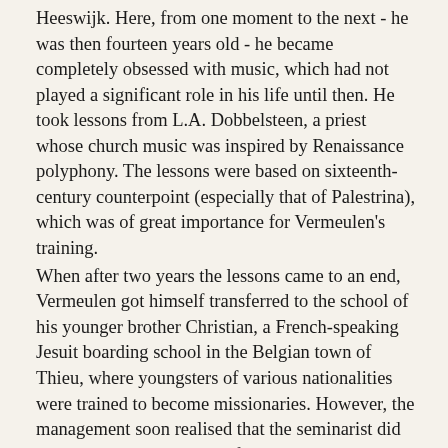Heeswijk. Here, from one moment to the next - he was then fourteen years old - he became completely obsessed with music, which had not played a significant role in his life until then. He took lessons from L.A. Dobbelsteen, a priest whose church music was inspired by Renaissance polyphony. The lessons were based on sixteenth-century counterpoint (especially that of Palestrina), which was of great importance for Vermeulen's training.
When after two years the lessons came to an end, Vermeulen got himself transferred to the school of his younger brother Christian, a French-speaking Jesuit boarding school in the Belgian town of Thieu, where youngsters of various nationalities were trained to become missionaries. However, the management soon realised that the seminarist did not have a real vocation. After one year, in which Vermeulen received a thorough tuition in classical literature and learnt to speak French fluently, he was asked not to return. Vermeulen never finished grammar school. From May 1906 he stayed at home to prepare himself for a career as an artist.
At the age of nineteen he moved to Amsterdam, where he showed his compositional experiments to the